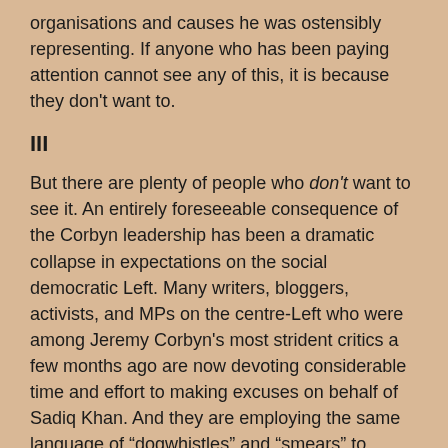organisations and causes he was ostensibly representing. If anyone who has been paying attention cannot see any of this, it is because they don't want to.
III
But there are plenty of people who don't want to see it. An entirely foreseeable consequence of the Corbyn leadership has been a dramatic collapse in expectations on the social democratic Left. Many writers, bloggers, activists, and MPs on the centre-Left who were among Jeremy Corbyn's most strident critics a few months ago are now devoting considerable time and effort to making excuses on behalf of Sadiq Khan. And they are employing the same language of “dogwhistles” and “smears” to deflect the same concerns about the political Left's tolerance and worse of radical Islam and the justifications it offers for political terror.
This might have been understandable were Khan's principal opponent in the mayoral race a foaming Powellite demagogue. But, notwithstanding some cynical and reprehensible campaigning gambits, Goldsmith is a political